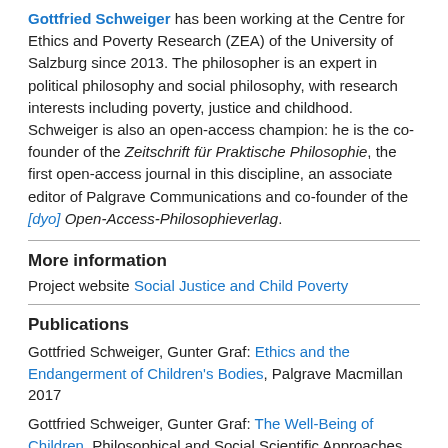Gottfried Schweiger has been working at the Centre for Ethics and Poverty Research (ZEA) of the University of Salzburg since 2013. The philosopher is an expert in political philosophy and social philosophy, with research interests including poverty, justice and childhood. Schweiger is also an open-access champion: he is the co-founder of the Zeitschrift für Praktische Philosophie, the first open-access journal in this discipline, an associate editor of Palgrave Communications and co-founder of the [dyo] Open-Access-Philosophieverlag.
More information
Project website Social Justice and Child Poverty
Publications
Gottfried Schweiger, Gunter Graf: Ethics and the Endangerment of Children's Bodies, Palgrave Macmillan 2017
Gottfried Schweiger, Gunter Graf: The Well-Being of Children. Philosophical and Social Scientific Approaches, de Gruyter 2016